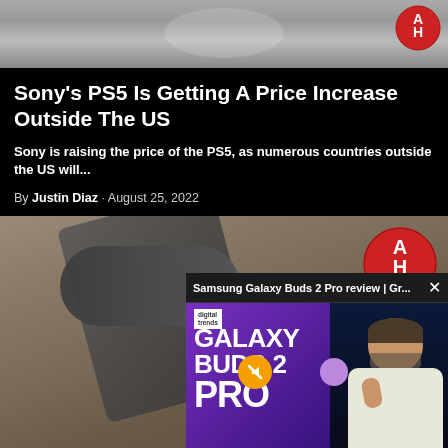[Figure (photo): Top banner image showing a white gaming controller (PS5 DualSense) with AH logo badge in top right corner]
Sony's PS5 Is Getting A Price Increase Outside The US
Sony is raising the price of the PS5, as numerous countries outside the US will...
By Justin Diaz · August 25, 2022
[Figure (screenshot): Photo of a Samsung smartwatch on a wooden surface with AH Editors badge in top right. Overlaid is a video popup for 'Samsung Galaxy Buds 2 Pro review | Gr...' showing a Galaxy Buds 2 Pro promotional image and a man holding an earbud, with a mute button and close button.]